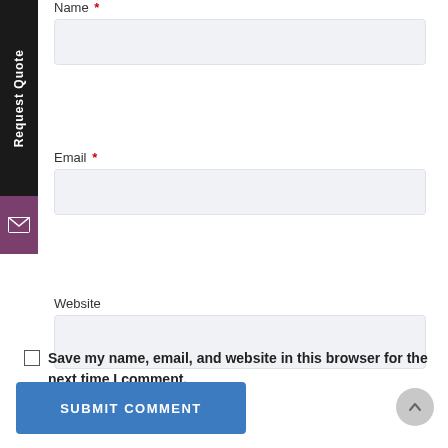Name *
Email *
Website
Save my name, email, and website in this browser for the next time I comment.
SUBMIT COMMENT
Request Quote